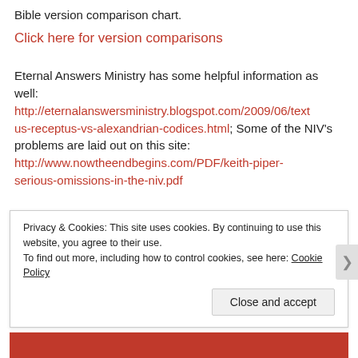Bible version comparison chart.
Click here for version comparisons
Eternal Answers Ministry has some helpful information as well: http://eternalanswersministry.blogspot.com/2009/06/textus-receptus-vs-alexandrian-codices.html; Some of the NIV’s problems are laid out on this site: http://www.nowtheendbegins.com/PDF/keith-piper-serious-omissions-in-the-niv.pdf
Many KJV questions are answered at the link below, which I found the night this article was
Privacy & Cookies: This site uses cookies. By continuing to use this website, you agree to their use. To find out more, including how to control cookies, see here: Cookie Policy
Close and accept